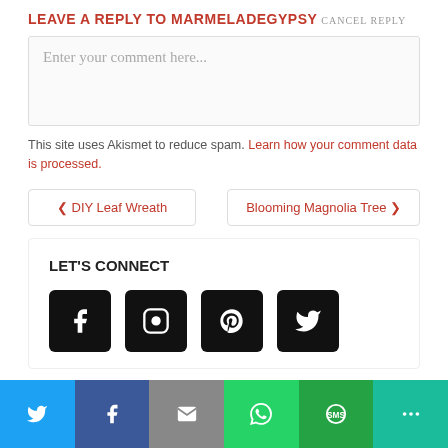LEAVE A REPLY TO MARMELADEGYPSY CANCEL REPLY
Enter your comment here...
This site uses Akismet to reduce spam. Learn how your comment data is processed.
‹ DIY Leaf Wreath
Blooming Magnolia Tree ›
LET'S CONNECT
[Figure (infographic): Four social media icon buttons: Facebook, Instagram, Pinterest, Twitter (black rounded squares with white icons)]
[Figure (infographic): Bottom share bar with six colored buttons: Twitter (blue), Facebook (dark blue), Email (gray), WhatsApp (green), SMS (green), More (teal)]